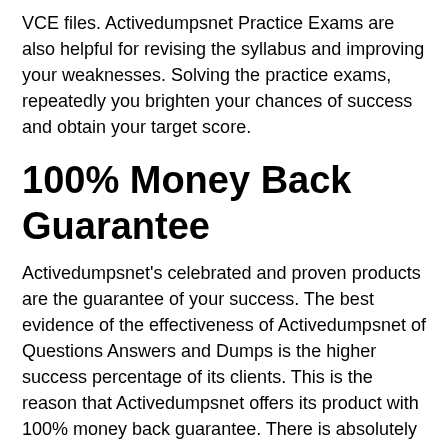VCE files. Activedumpsnet Practice Exams are also helpful for revising the syllabus and improving your weaknesses. Solving the practice exams, repeatedly you brighten your chances of success and obtain your target score.
100% Money Back Guarantee
Activedumpsnet's celebrated and proven products are the guarantee of your success. The best evidence of the effectiveness of Activedumpsnet of Questions Answers and Dumps is the higher success percentage of its clients. This is the reason that Activedumpsnet offers its product with 100% money back guarantee. There is absolutely no fear of failure if the Advanced Level Exams exam candidates make sure their learning and grasp of the content given in their products. You can take back your money, if you fail the exam despite learning the Advanced Level Exams Questions Answers or Advanced Level Exams Exam Dumps. There are some terms and